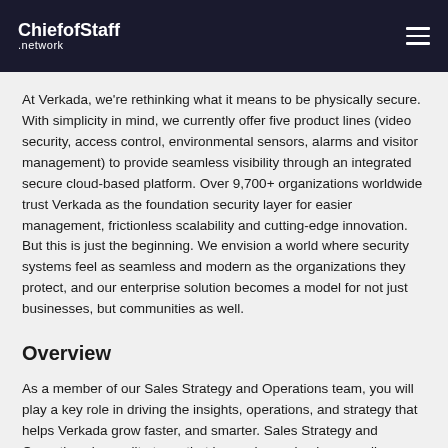ChiefofStaff .network
At Verkada, we're rethinking what it means to be physically secure. With simplicity in mind, we currently offer five product lines (video security, access control, environmental sensors, alarms and visitor management) to provide seamless visibility through an integrated secure cloud-based platform. Over 9,700+ organizations worldwide trust Verkada as the foundation security layer for easier management, frictionless scalability and cutting-edge innovation. But this is just the beginning. We envision a world where security systems feel as seamless and modern as the organizations they protect, and our enterprise solution becomes a model for not just businesses, but communities as well.
Overview
As a member of our Sales Strategy and Operations team, you will play a key role in driving the insights, operations, and strategy that helps Verkada grow faster, and smarter. Sales Strategy and Operations is an elite team that knows how a business really runs. Prior candidates that our leadership has hired have gone on to be VPs and COOs of companies...